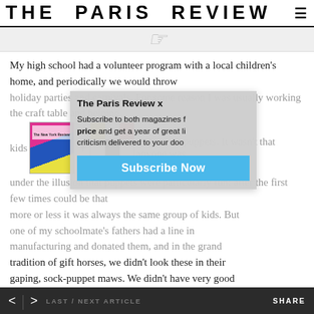THE PARIS REVIEW
My high school had a volunteer program with a local children's home, and periodically we would throw holiday parties and carnivals. For some reason I was usually working the craft table and helping kids make sock puppets. It wasn't that anyone was under the illusion that puppets were particularly fun; after the first few times could be that more or less it was always the same group of kids. But one of my schoolmate's fathers had a line in manufacturing and donated them, and in the grand tradition of gift horses, we didn't look these in their gaping, sock-puppet maws. We didn't have very good
[Figure (screenshot): Subscription popup overlay: The Paris Review x [magazine]. Subscribe to both magazines for price and get a year of great literary criticism delivered to your door. Subscribe Now button.]
< > LAST / NEXT ARTICLE   SHARE